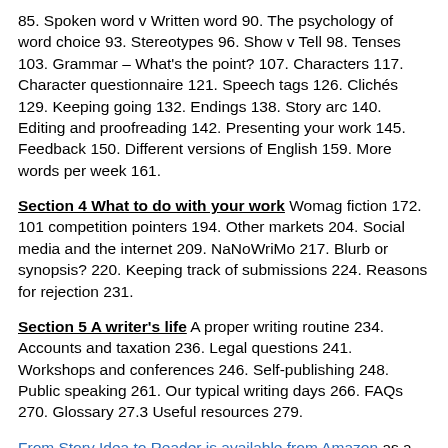85. Spoken word v Written word 90. The psychology of word choice 93. Stereotypes 96. Show v Tell 98. Tenses 103. Grammar – What's the point? 107. Characters 117. Character questionnaire 121. Speech tags 126. Clichés 129. Keeping going 132. Endings 138. Story arc 140. Editing and proofreading 142. Presenting your work 145. Feedback 150. Different versions of English 159. More words per week 161.
Section 4 What to do with your work Womag fiction 172. 101 competition pointers 194. Other markets 204. Social media and the internet 209. NaNoWriMo 217. Blurb or synopsis? 220. Keeping track of submissions 224. Reasons for rejection 231.
Section 5 A writer's life A proper writing routine 234. Accounts and taxation 236. Legal questions 241. Workshops and conferences 246. Self-publishing 248. Public speaking 261. Our typical writing days 266. FAQs 270. Glossary 27.3 Useful resources 279.
From Story Idea to Reader is available from Amazon as a paperback (£9.99) or ebook (£3.99). If you'd like it in a